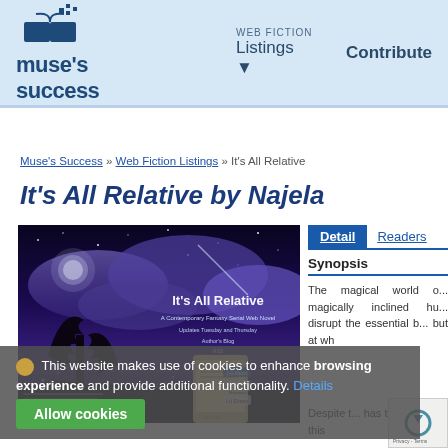muse's success | WEB FICTION Listings | Contribute
Muse's Success » Web Fiction Listings » It's All Relative
It's All Relative by Najela
[Figure (screenshot): Screenshot of the 'It's All Relative' web fiction page showing a fantasy night sky banner with tree silhouette, purple clouds, and stars. Text overlay reads 'It's All Relative - A Contemporary Fantasy Serial Web Novel - Updates Tuesday and Thursday - Author's Blog - RSS']
This website makes use of cookies to enhance browsing experience and provide additional functionality. Details Allow cookies
Detail | Readers
Synopsis
The magical world o... magically inclined hu... disrupt the essential b... but at wh
Despite t... has to deal with, this